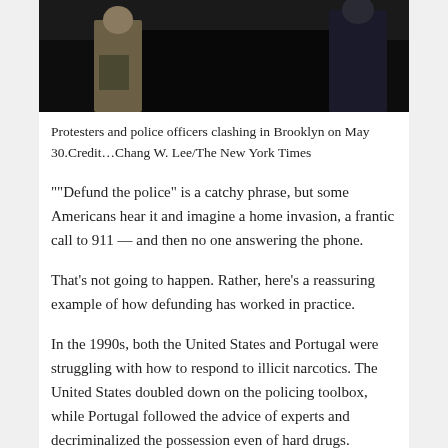[Figure (photo): Protesters and police officers clashing at night, dark background with figures visible on left and right sides of frame]
Protesters and police officers clashing in Brooklyn on May 30.Credit…Chang W. Lee/The New York Times
““Defund the police” is a catchy phrase, but some Americans hear it and imagine a home invasion, a frantic call to 911 — and then no one answering the phone.
That’s not going to happen. Rather, here’s a reassuring example of how defunding has worked in practice.
In the 1990s, both the United States and Portugal were struggling with how to respond to illicit narcotics. The United States doubled down on the policing toolbox, while Portugal followed the advice of experts and decriminalized the possession even of hard drugs.
So in 2001, Portugal, to use today’s terminology, defunded the police for routine drug cases. Small-time